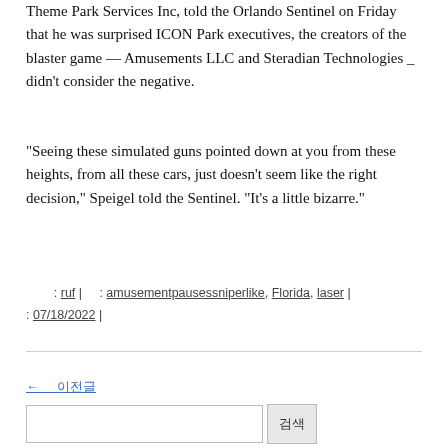Theme Park Services Inc, told the Orlando Sentinel on Friday that he was surprised ICON Park executives, the creators of the blaster game — Amusements LLC and Steradian Technologies _ didn't consider the negative.
“Seeing these simulated guns pointed down at you from these heights, from all these cars, just doesn’t seem like the right decision,” Speigel told the Sentinel. “It’s a little bizarre.”
: ruf |  : amusementpausessniperlike, Florida, laser | : 07/18/2022 |
← 계속 읽기
Search box